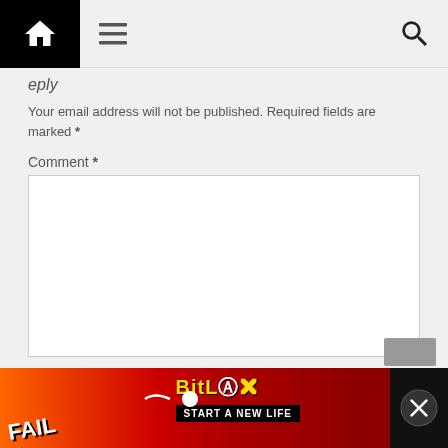Navigation bar with home, menu, and search icons
Your email address will not be published. Required fields are marked *
Comment *
[Figure (other): Comment text area input box]
Name *
[Figure (other): Name text input box]
[Figure (infographic): BitLife advertisement banner at bottom: FAIL - START A NEW LIFE with cartoon imagery on dark/red background with close button]